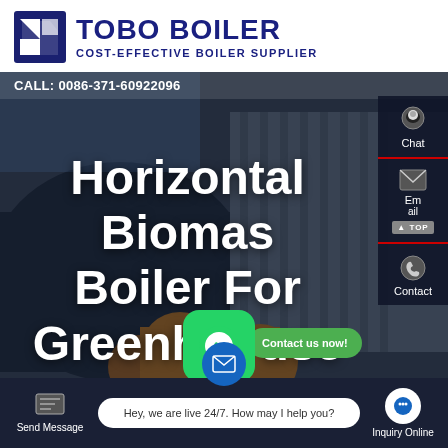[Figure (logo): TOBO BOILER logo with icon and text 'COST-EFFECTIVE BOILER SUPPLIER']
[Figure (photo): Industrial horizontal biomass boiler equipment with pipes and machinery, dark background]
CALL: 0086-371-60922096
Horizontal Biomass Boiler For Greenhouse
Chat
Email
Contact
Contact us now!
Send Message
Hey, we are live 24/7. How may I help you?
Inquiry Online